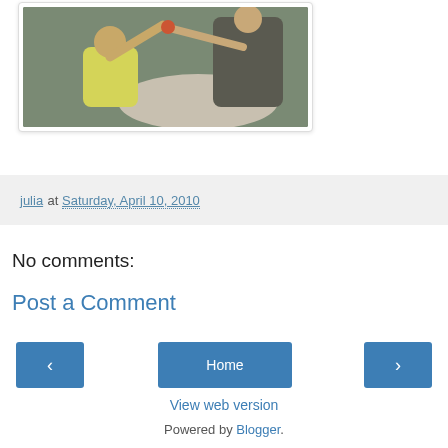[Figure (photo): Photo of a child and adult at a dining table, child reaching up with hands, seated in a white chair near a round table]
julia at Saturday, April 10, 2010
No comments:
Post a Comment
< Home >
View web version
Powered by Blogger.